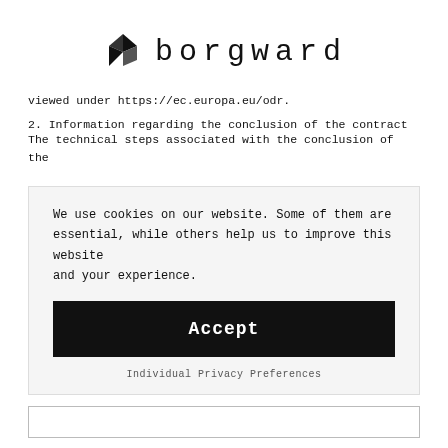[Figure (logo): Borgward logo with geometric arrow/diamond icon and the word 'borgward' in spaced monospace letters]
viewed under https://ec.europa.eu/odr.
2. Information regarding the conclusion of the contract
The technical steps associated with the conclusion of the
We use cookies on our website. Some of them are essential, while others help us to improve this website and your experience.
Accept
Individual Privacy Preferences